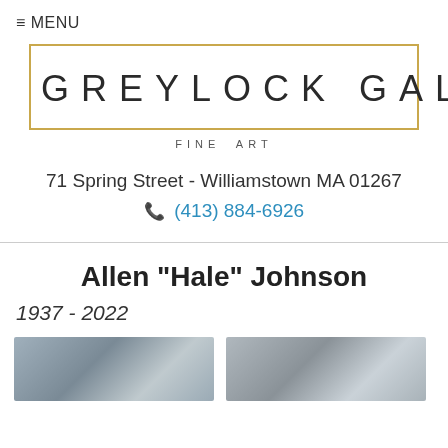≡ MENU
[Figure (logo): Greylock Gallery Fine Art logo — text inside gold rectangular border]
71 Spring Street - Williamstown MA 01267
📞 (413) 884-6926
Allen "Hale" Johnson
1937 - 2022
[Figure (photo): Photo of artwork, left thumbnail]
[Figure (photo): Photo of artwork, right thumbnail]